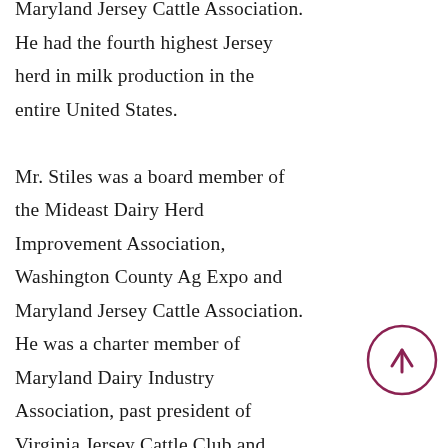Maryland Jersey Cattle Association. He had the fourth highest Jersey herd in milk production in the entire United States.

Mr. Stiles was a board member of the Mideast Dairy Herd Improvement Association, Washington County Ag Expo and Maryland Jersey Cattle Association. He was a charter member of Maryland Dairy Industry Association, past president of Virginia Jersey Cattle Club and Frederick County Virginia Dairy
[Figure (other): A circular button with a dark maroon/crimson border and an upward-pointing arrow in the center, serving as a scroll-to-top navigation button.]